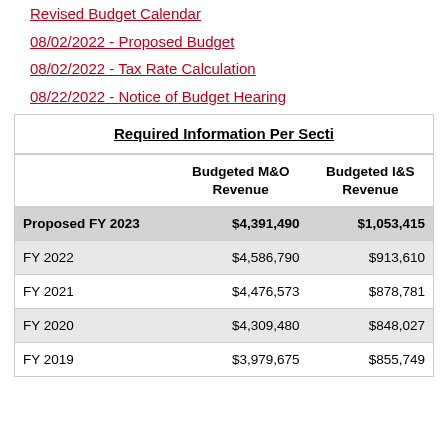Revised Budget Calendar
08/02/2022 - Proposed Budget
08/02/2022 - Tax Rate Calculation
08/22/2022 - Notice of Budget Hearing
|  | Budgeted M&O Revenue | Budgeted I&S Revenue |
| --- | --- | --- |
| Proposed FY 2023 | $4,391,490 | $1,053,415 |
| FY 2022 | $4,586,790 | $913,610 |
| FY 2021 | $4,476,573 | $878,781 |
| FY 2020 | $4,309,480 | $848,027 |
| FY 2019 | $3,979,675 | $855,749 |